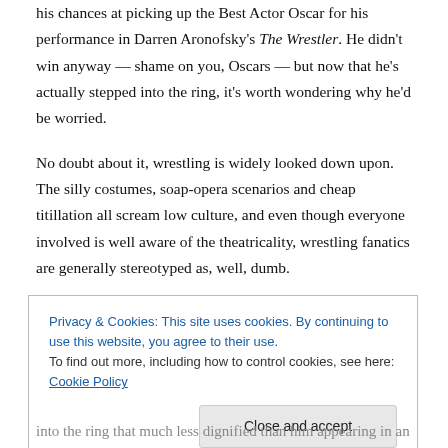his chances at picking up the Best Actor Oscar for his performance in Darren Aronofsky's The Wrestler. He didn't win anyway — shame on you, Oscars — but now that he's actually stepped into the ring, it's worth wondering why he'd be worried.
No doubt about it, wrestling is widely looked down upon. The silly costumes, soap-opera scenarios and cheap titillation all scream low culture, and even though everyone involved is well aware of the theatricality, wrestling fanatics are generally stereotyped as, well, dumb.
Still, everyone has their pop culture vices. Some people use the term "guilty pleasure," but that guilt is unnecessary — there probably isn't a person alive
Privacy & Cookies: This site uses cookies. By continuing to use this website, you agree to their use.
To find out more, including how to control cookies, see here: Cookie Policy
Close and accept
into the ring that much less dignified than him appearing in an Iron Man